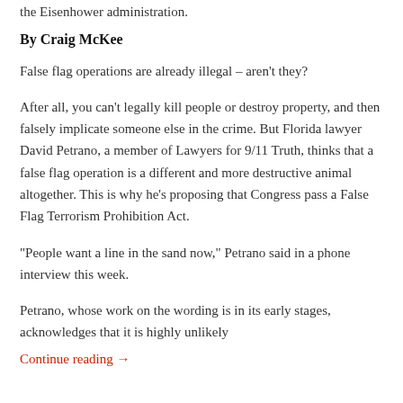the Eisenhower administration.
By Craig McKee
False flag operations are already illegal – aren't they?
After all, you can't legally kill people or destroy property, and then falsely implicate someone else in the crime. But Florida lawyer David Petrano, a member of Lawyers for 9/11 Truth, thinks that a false flag operation is a different and more destructive animal altogether. This is why he's proposing that Congress pass a False Flag Terrorism Prohibition Act.
“People want a line in the sand now,” Petrano said in a phone interview this week.
Petrano, whose work on the wording is in its early stages, acknowledges that it is highly unlikely
Continue reading →